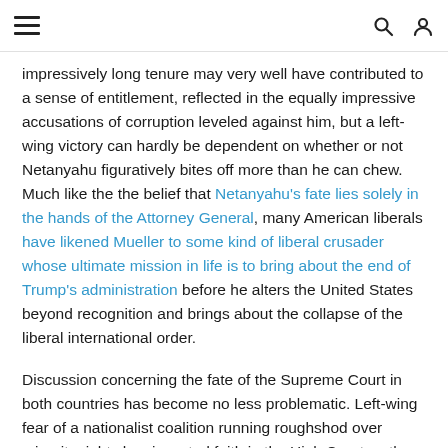≡   🔍 👤
impressively long tenure may very well have contributed to a sense of entitlement, reflected in the equally impressive accusations of corruption leveled against him, but a left-wing victory can hardly be dependent on whether or not Netanyahu figuratively bites off more than he can chew. Much like the the belief that Netanyahu's fate lies solely in the hands of the Attorney General, many American liberals have likened Mueller to some kind of liberal crusader whose ultimate mission in life is to bring about the end of Trump's administration before he alters the United States beyond recognition and brings about the collapse of the liberal international order.
Discussion concerning the fate of the Supreme Court in both countries has become no less problematic. Left-wing fear of a nationalist coalition running roughshod over minority rights has invested faith in the High Court as the last bulwark against the